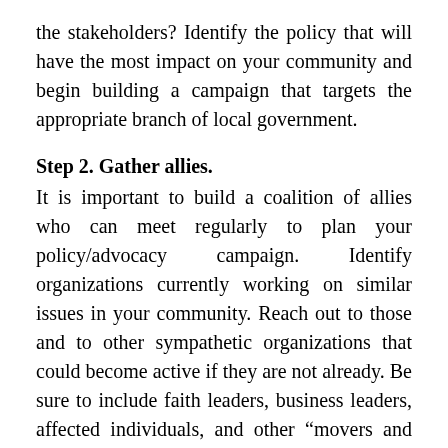the stakeholders? Identify the policy that will have the most impact on your community and begin building a campaign that targets the appropriate branch of local government.
Step 2. Gather allies.
It is important to build a coalition of allies who can meet regularly to plan your policy/advocacy campaign. Identify organizations currently working on similar issues in your community. Reach out to those and to other sympathetic organizations that could become active if they are not already. Be sure to include faith leaders, business leaders, affected individuals, and other “movers and shakers” in your working group.